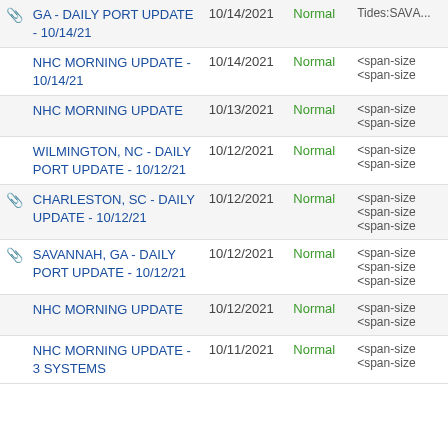|  | Title | Date | Status | Snippet |
| --- | --- | --- | --- | --- |
| 📎 | GA - DAILY PORT UPDATE - 10/14/21 | 10/14/2021 | Normal | Tides:SAVA... |
|  | NHC MORNING UPDATE - 10/14/21 | 10/14/2021 | Normal | <span-size... |
|  | NHC MORNING UPDATE | 10/13/2021 | Normal | <span-size... |
|  | WILMINGTON, NC - DAILY PORT UPDATE - 10/12/21 | 10/12/2021 | Normal | <span-size... |
| 📎 | CHARLESTON, SC - DAILY UPDATE - 10/12/21 | 10/12/2021 | Normal | <span-size... |
| 📎 | SAVANNAH, GA - DAILY PORT UPDATE - 10/12/21 | 10/12/2021 | Normal | <span-size... |
|  | NHC MORNING UPDATE | 10/12/2021 | Normal | <span-size... |
|  | NHC MORNING UPDATE - 3 SYSTEMS | 10/11/2021 | Normal | <span-size... |